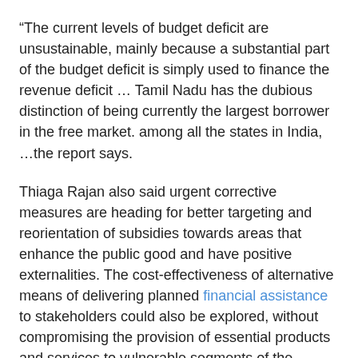“The current levels of budget deficit are unsustainable, mainly because a substantial part of the budget deficit is simply used to finance the revenue deficit … Tamil Nadu has the dubious distinction of being currently the largest borrower in the free market. among all the states in India, …the report says.
Thiaga Rajan also said urgent corrective measures are heading for better targeting and reorientation of subsidies towards areas that enhance the public good and have positive externalities. The cost-effectiveness of alternative means of delivering planned financial assistance to stakeholders could also be explored, without compromising the provision of essential products and services to vulnerable segments of the population.
“Tamil Nadu has more ration cards than it needs,” said Anand Srinivasan, financial consultant and economist. “I see a lot of well-off people claiming subsidies. Expecting people to be altruistic and hope that they will remove the subsidies themselves will not